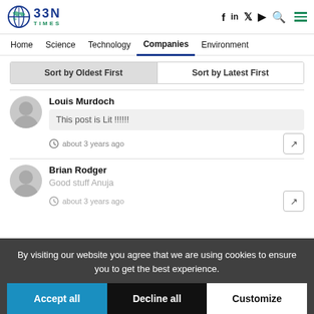BBN TIMES — Home | Science | Technology | Companies | Environment
Sort by Oldest First | Sort by Latest First
Louis Murdoch
This post is Lit !!!!!!
about 3 years ago
Brian Rodger
Good stuff Anuja
about 3 years ago
By visiting our website you agree that we are using cookies to ensure you to get the best experience.
Accept all | Decline all | Customize